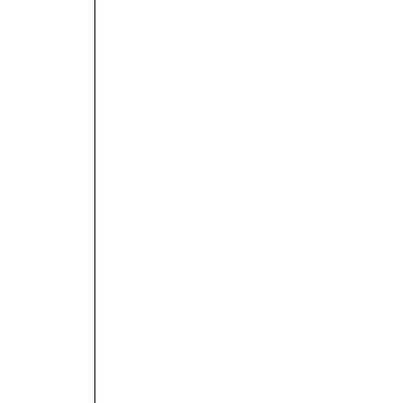her know of his plan to save her. Jonas springs into action to raise the money to pay Doc. He smuggles the town whores into the prison late at night and, posting